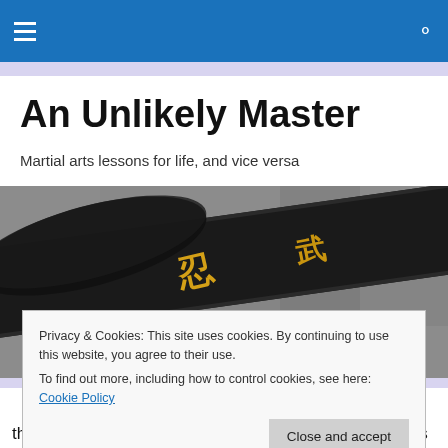An Unlikely Master — navigation bar with hamburger menu and search icon
An Unlikely Master
Martial arts lessons for life, and vice versa
[Figure (photo): Close-up photo of a black martial arts belt with yellow embroidered kanji characters, resting on a gray stone surface]
Privacy & Cookies: This site uses cookies. By continuing to use this website, you agree to their use.
To find out more, including how to control cookies, see here: Cookie Policy
the face."It's usually just a general observation,perhaps